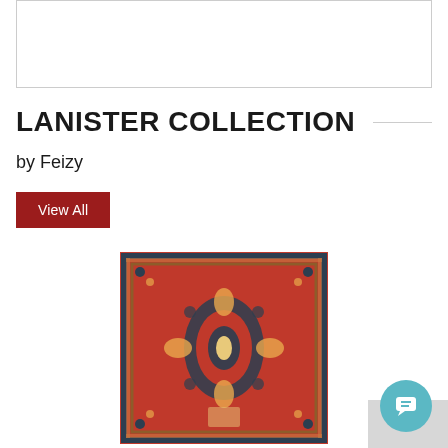[Figure (other): White rectangular box with border, likely placeholder for an image at top of page]
LANISTER COLLECTION
by Feizy
View All
[Figure (photo): Traditional Persian-style area rug with red, orange, and dark blue medallion pattern, intricate floral and geometric designs]
[Figure (other): Teal circular chat/message button with speech bubble icon in bottom right corner]